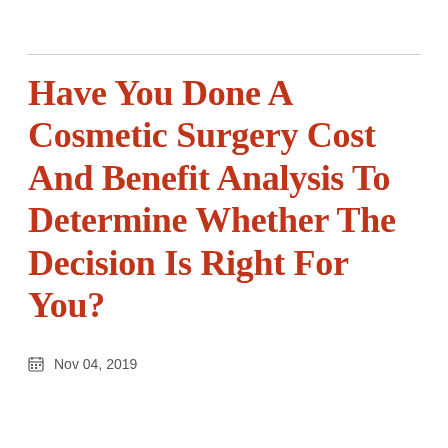Have You Done A Cosmetic Surgery Cost And Benefit Analysis To Determine Whether The Decision Is Right For You?
📅 Nov 04, 2019